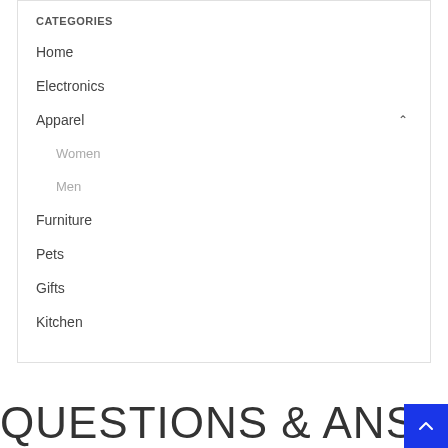CATEGORIES
Home
Electronics
Apparel
Women
Men
Furniture
Pets
Gifts
Kitchen
QUESTIONS & ANSWERS